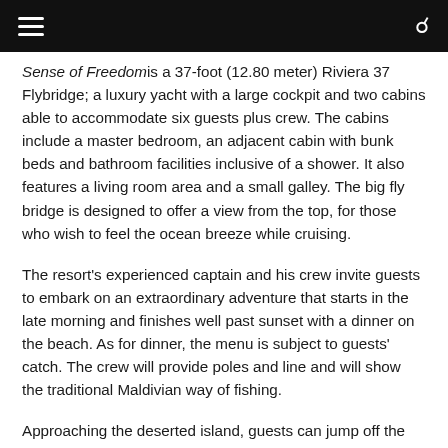Navigation bar with hamburger menu and search icon
Sense of Freedomis a 37-foot (12.80 meter) Riviera 37 Flybridge; a luxury yacht with a large cockpit and two cabins able to accommodate six guests plus crew. The cabins include a master bedroom, an adjacent cabin with bunk beds and bathroom facilities inclusive of a shower. It also features a living room area and a small galley. The big fly bridge is designed to offer a view from the top, for those who wish to feel the ocean breeze while cruising.
The resort's experienced captain and his crew invite guests to embark on an extraordinary adventure that starts in the late morning and finishes well past sunset with a dinner on the beach. As for dinner, the menu is subject to guests' catch. The crew will provide poles and line and will show the traditional Maldivian way of fishing.
Approaching the deserted island, guests can jump off the yacht and explore the beach and the underwater...